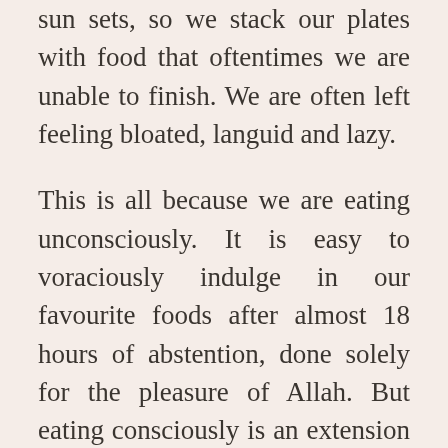sun sets, so we stack our plates with food that oftentimes we are unable to finish. We are often left feeling bloated, languid and lazy.
This is all because we are eating unconsciously. It is easy to voraciously indulge in our favourite foods after almost 18 hours of abstention, done solely for the pleasure of Allah. But eating consciously is an extension of gratitude for the food and the rizq that He has provided us with. We are infinitely blessed knowing that at exactly 8.42pm, we will have more than enough food available to satiate our hunger. Many people don't. Our blessings are so immeasurable, that we even get to have cravings and choose